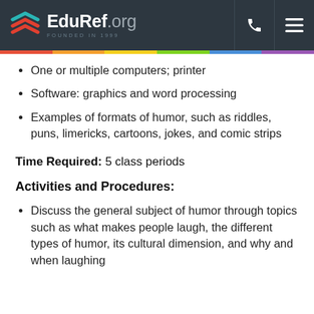EduRef.org — FOUNDED IN 1999
One or multiple computers; printer
Software: graphics and word processing
Examples of formats of humor, such as riddles, puns, limericks, cartoons, jokes, and comic strips
Time Required: 5 class periods
Activities and Procedures:
Discuss the general subject of humor through topics such as what makes people laugh, the different types of humor, its cultural dimension, and why and when laughing